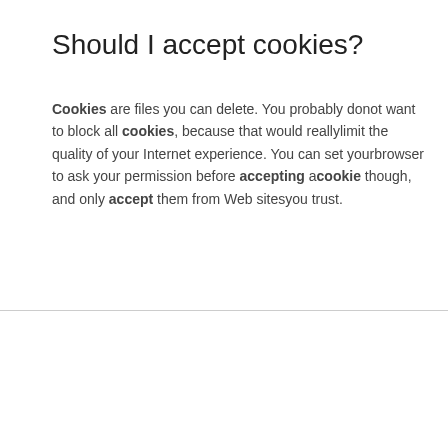Should I accept cookies?
Cookies are files you can delete. You probably donot want to block all cookies, because that would reallylimit the quality of your Internet experience. You can set yourbrowser to ask your permission before accepting acookie though, and only accept them from Web sitesyou trust.
What does clearing your cookies do?
These files typically store user-specific informationsuch as selections in a form, shopping cart contents